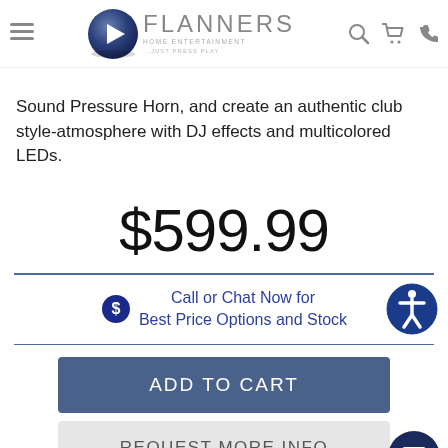Flanners Home Entertainment - Just Press Play
Sound Pressure Horn, and create an authentic club style-atmosphere with DJ effects and multicolored LEDs.
$599.99
Call or Chat Now for Best Price Options and Stock
ADD TO CART
REQUEST MORE INFO
WISHLIST
COMPARE